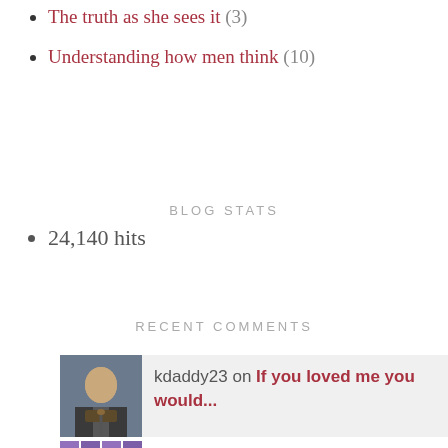The truth as she sees it (3)
Understanding how men think (10)
BLOG STATS
24,140 hits
RECENT COMMENTS
kdaddy23 on If you loved me you would...
Jay man on My Sexual Bucket list...A...
Pyx on Can you love someone you have